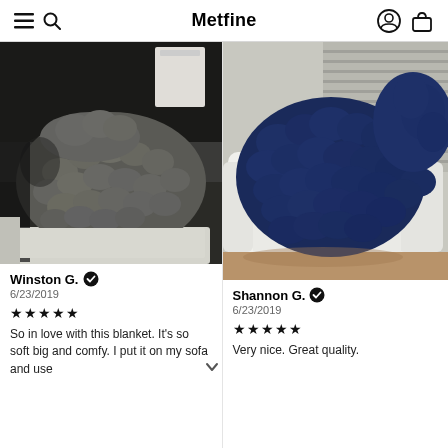Metfine
[Figure (photo): Gray chunky knit blanket draped over a bed in a bedroom setting]
Winston G. ✓
6/23/2019
★★★★★
So in love with this blanket. It's so soft big and comfy. I put it on my sofa and use it…
[Figure (photo): Navy blue chunky knit blanket draped over a white armchair near window blinds]
Shannon G. ✓
6/23/2019
★★★★★
Very nice. Great quality.